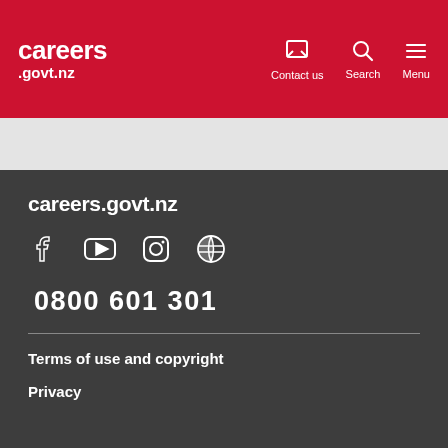careers .govt.nz | Contact us | Search | Menu
careers.govt.nz
[Figure (other): Social media icons: Facebook, YouTube, Instagram, Globe/language toggle]
0800 601 301
Terms of use and copyright
Privacy